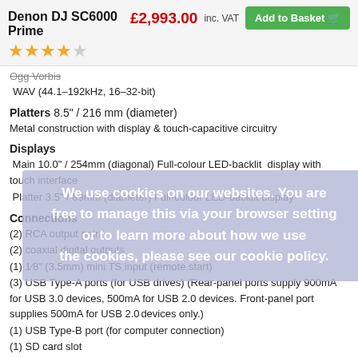Denon DJ SC6000 Prime
£2,993.00 inc. VAT
Add to Basket
★★★★☆
Ogg Vorbis
WAV (44.1–192kHz, 16–32-bit)
Platters
Platters 8.5" / 216 mm (diameter)
Metal construction with display & touch-capacitive circuitry
Displays
Main 10.0" / 254mm (diagonal) Full-colour LED-backlit display with touch interface
Platter 3.5" / 89mm (diameter) Full-colour LED-backlit display
Connections
(2) RCA output pairs
(2) coaxial digital outputs
(1) 1/8" (3.5mm) mini TS input (remote start)
(3) USB Type-A ports (for USB drives) (Rear-panel ports supply 900mA for USB 3.0 devices, 500mA for USB 2.0 devices. Front-panel port supplies 500mA for USB 2.0 devices only.)
(1) USB Type-B port (for computer connection)
(1) SD card slot
(1) Ethernet link port
We use cookies on our websites. You are free to manage this via your browser setting or to learn more about how we use the cookies, please see our cookie policy.